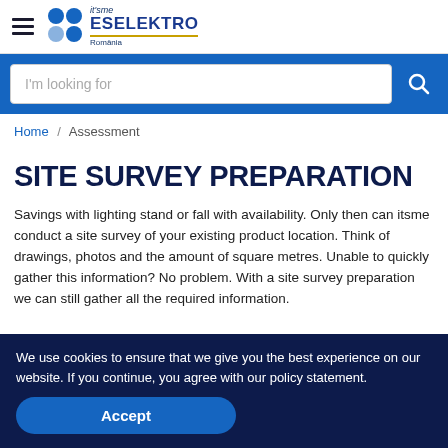it'sme ESELEKTRO Romania
I'm looking for
Home / Assessment
SITE SURVEY PREPARATION
Savings with lighting stand or fall with availability. Only then can itsme conduct a site survey of your existing product location. Think of drawings, photos and the amount of square metres. Unable to quickly gather this information? No problem. With a site survey preparation we can still gather all the required information.
We use cookies to ensure that we give you the best experience on our website. If you continue, you agree with our policy statement.
Accept